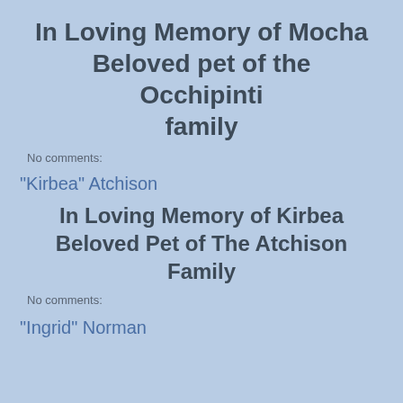In Loving Memory of Mocha Beloved pet of the Occhipinti family
No comments:
"Kirbea" Atchison
In Loving Memory of Kirbea Beloved Pet of The Atchison Family
No comments:
"Ingrid" Norman